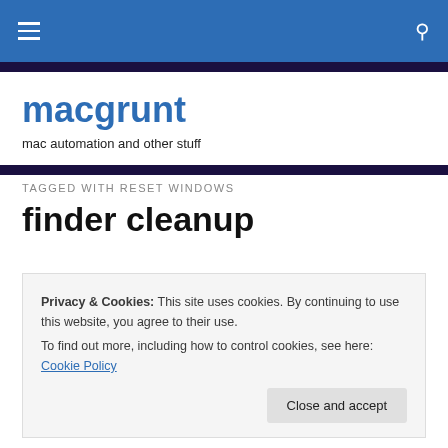macgrunt — mac automation and other stuff
TAGGED WITH RESET WINDOWS
finder cleanup
Privacy & Cookies: This site uses cookies. By continuing to use this website, you agree to their use. To find out more, including how to control cookies, see here: Cookie Policy
Close and accept